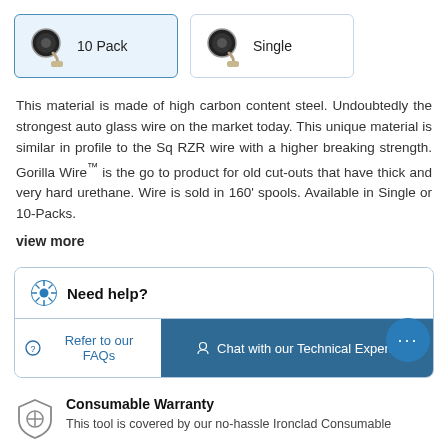[Figure (other): Two product variant selection cards: '10 Pack' (selected, highlighted in light blue) and 'Single', each showing a spool/wire product thumbnail image.]
This material is made of high carbon content steel. Undoubtedly the strongest auto glass wire on the market today. This unique material is similar in profile to the Sq RZR wire with a higher breaking strength. Gorilla Wire™ is the go to product for old cut-outs that have thick and very hard urethane. Wire is sold in 160' spools. Available in Single or 10-Packs.
view more
[Figure (infographic): Help box with 'Need help?' header and two buttons: 'Refer to our FAQs' and 'Chat with our Technical Experts']
[Figure (other): Blue circular chat bubble with ellipsis (…) icon in bottom right corner]
Consumable Warranty
This tool is covered by our no-hassle Ironclad Consumable